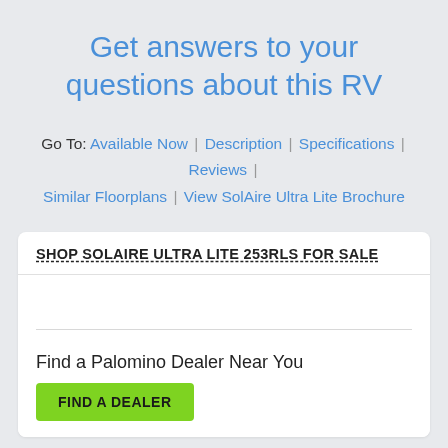Get answers to your questions about this RV
Go To: Available Now | Description | Specifications | Reviews | Similar Floorplans | View SolAire Ultra Lite Brochure
SHOP SOLAIRE ULTRA LITE 253RLS FOR SALE
Find a Palomino Dealer Near You
FIND A DEALER